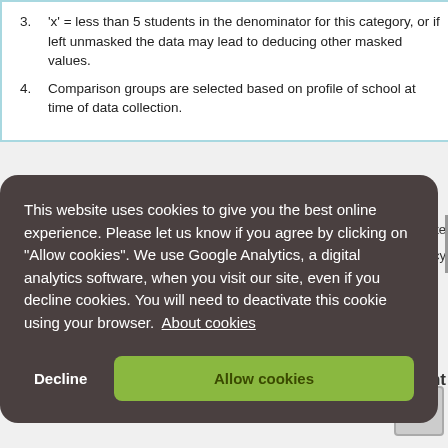3. 'x' = less than 5 students in the denominator for this category, or if left unmasked the data may lead to deducing other masked values.
4. Comparison groups are selected based on profile of school at time of data collection.
This website uses cookies to give you the best online experience. Please let us know if you agree by clicking on “Allow cookies”. We use Google Analytics, a digital analytics software, when you visit our site, even if you decline cookies. You will need to deactivate this cookie using your browser. About cookies
Decline
Allow cookies